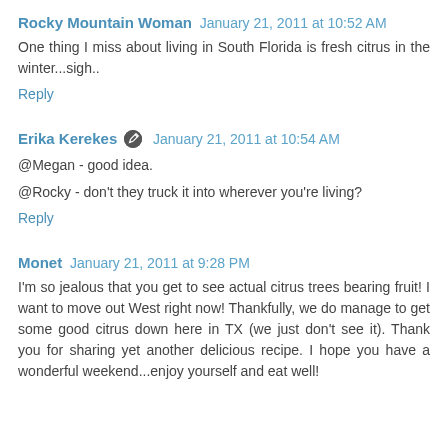Rocky Mountain Woman  January 21, 2011 at 10:52 AM
One thing I miss about living in South Florida is fresh citrus in the winter...sigh..
Reply
Erika Kerekes  January 21, 2011 at 10:54 AM
@Megan - good idea.

@Rocky - don't they truck it into wherever you're living?
Reply
Monet  January 21, 2011 at 9:28 PM
I'm so jealous that you get to see actual citrus trees bearing fruit! I want to move out West right now! Thankfully, we do manage to get some good citrus down here in TX (we just don't see it). Thank you for sharing yet another delicious recipe. I hope you have a wonderful weekend...enjoy yourself and eat well!